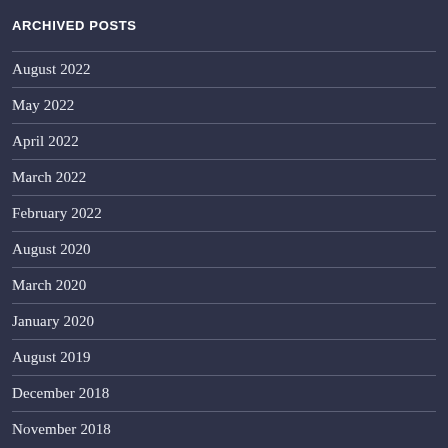ARCHIVED POSTS
August 2022
May 2022
April 2022
March 2022
February 2022
August 2020
March 2020
January 2020
August 2019
December 2018
November 2018